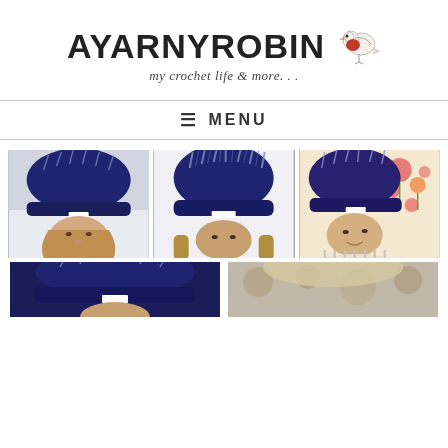[Figure (logo): AYARNYROBIN blog logo with a robin bird illustration and tagline 'my crochet life & more...']
≡ MENU
[Figure (photo): Three photos of a woman wearing a navy blue crochet hat with light blue ribbed pattern, shown from different angles]
[Figure (photo): Two partial photos at bottom — left shows navy hat, right shows another item]